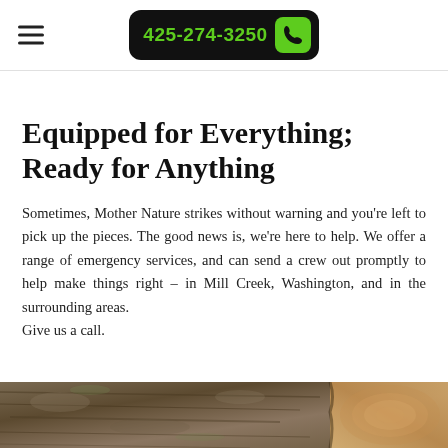425-274-3250
Equipped for Everything; Ready for Anything
Sometimes, Mother Nature strikes without warning and you're left to pick up the pieces. The good news is, we're here to help. We offer a range of emergency services, and can send a crew out promptly to help make things right – in Mill Creek, Washington, and in the surrounding areas.
Give us a call.
[Figure (photo): Close-up photo of tree bark and wood, likely a felled or damaged tree, showing natural textures of bark and wood grain.]